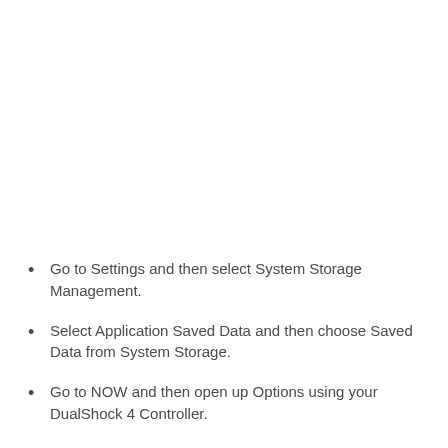Go to Settings and then select System Storage Management.
Select Application Saved Data and then choose Saved Data from System Storage.
Go to NOW and then open up Options using your DualShock 4 Controller.
Then select Delete.